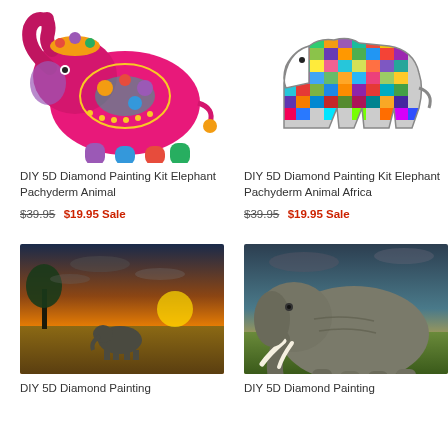[Figure (illustration): Colorful decorative Indian elephant illustration with floral patterns, pink body, raised trunk]
DIY 5D Diamond Painting Kit Elephant Pachyderm Animal
$39.95 $19.95 Sale
[Figure (illustration): Colorful mosaic/rainbow paint splatter elephant silhouette on white background]
DIY 5D Diamond Painting Kit Elephant Pachyderm Animal Africa
$39.95 $19.95 Sale
[Figure (photo): Elephant walking in savanna at sunset with dramatic orange sky and tree silhouette]
DIY 5D Diamond Painting
[Figure (photo): Close-up of large elephant with tusks in grassland at sunset with dramatic sky]
DIY 5D Diamond Painting